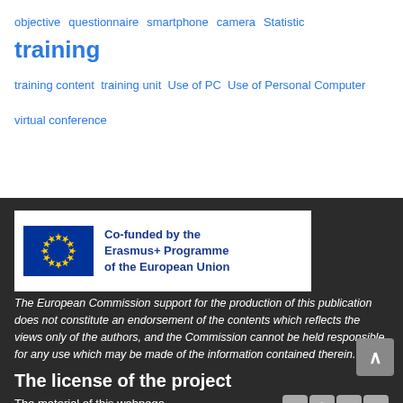objective questionnaire smartphone camera Statistic training
training content training unit Use of PC Use of Personal Computer
virtual conference
[Figure (logo): Erasmus+ Co-funded by the Erasmus+ Programme of the European Union logo with EU flag]
The European Commission support for the production of this publication does not constitute an endorsement of the contents which reflects the views only of the authors, and the Commission cannot be held responsible for any use which may be made of the information contained therein.
The license of the project
The material of this webpage